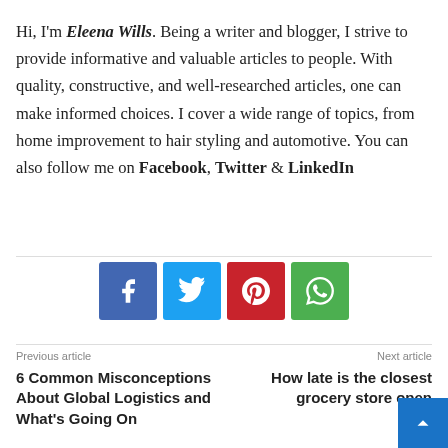Hi, I'm Eleena Wills. Being a writer and blogger, I strive to provide informative and valuable articles to people. With quality, constructive, and well-researched articles, one can make informed choices. I cover a wide range of topics, from home improvement to hair styling and automotive. You can also follow me on Facebook, Twitter & LinkedIn
[Figure (infographic): Social media share buttons: Facebook (blue), Twitter (light blue), Pinterest (red), WhatsApp (green)]
Previous article
6 Common Misconceptions About Global Logistics and What's Going On
Next article
How late is the closest grocery store open